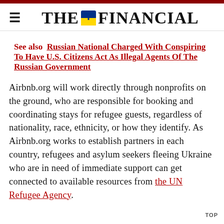THE FINANCIAL
See also  Russian National Charged With Conspiring To Have U.S. Citizens Act As Illegal Agents Of The Russian Government
Airbnb.org will work directly through nonprofits on the ground, who are responsible for booking and coordinating stays for refugee guests, regardless of nationality, race, ethnicity, or how they identify. As Airbnb.org works to establish partners in each country, refugees and asylum seekers fleeing Ukraine who are in need of immediate support can get connected to available resources from the UN Refugee Agency.